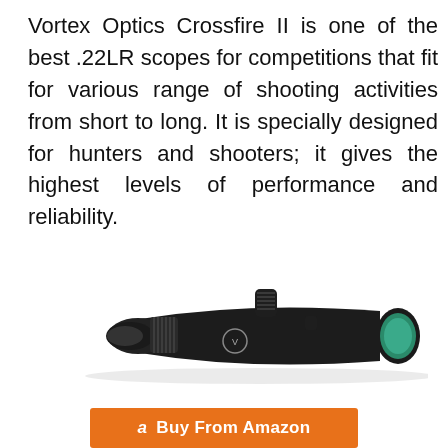Vortex Optics Crossfire II is one of the best .22LR scopes for competitions that fit for various range of shooting activities from short to long. It is specially designed for hunters and shooters; it gives the highest levels of performance and reliability.
[Figure (photo): A black Vortex Optics Crossfire II rifle scope shown at an angle against a white background. The scope has adjustment turrets on top, a corrugated focus ring near the objective lens, a Vortex logo on the body, and a green-coated objective lens at the right end.]
a Buy From Amazon